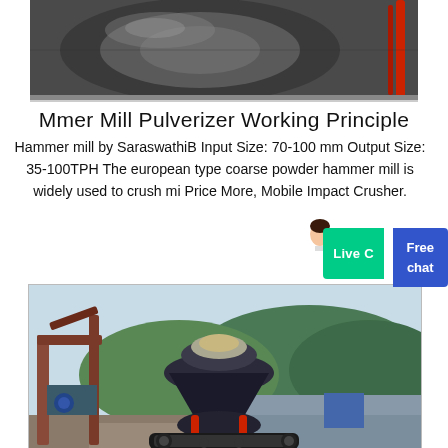[Figure (photo): Close-up photo of industrial mill or pulverizer equipment, dark metallic cylindrical body, visible red accent component on right side]
Mmer Mill Pulverizer Working Principle
Hammer mill by SaraswathiB Input Size: 70-100 mm Output Size: 35-100TPH The european type coarse powder hammer mill is widely used to crush mi Price More, Mobile Impact Crusher.
[Figure (photo): Outdoor photo of large industrial cone crusher or mill machinery on tracked mobile platform, parked near a river, with green hills and trees in background, rusty metal frame structure visible]